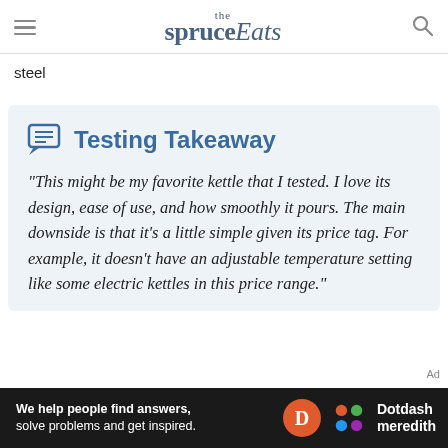the spruce Eats
steel
Testing Takeaway
"This might be my favorite kettle that I tested. I love its design, ease of use, and how smoothly it pours. The main downside is that it's a little simple given its price tag. For example, it doesn't have an adjustable temperature setting like some electric kettles in this price range."
We help people find answers, solve problems and get inspired. Dotdash meredith